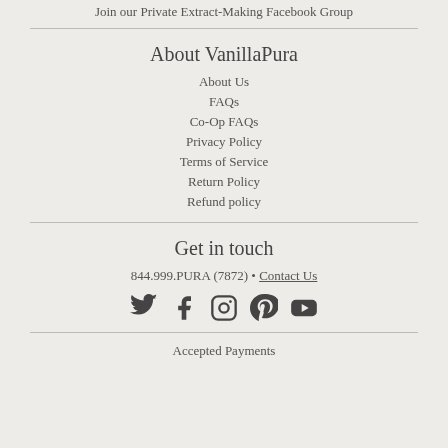Join our Private Extract-Making Facebook Group
About VanillaPura
About Us
FAQs
Co-Op FAQs
Privacy Policy
Terms of Service
Return Policy
Refund policy
Get in touch
844.999.PURA (7872) • Contact Us
[Figure (infographic): Social media icons: Twitter, Facebook, Instagram, Pinterest, YouTube]
Accepted Payments